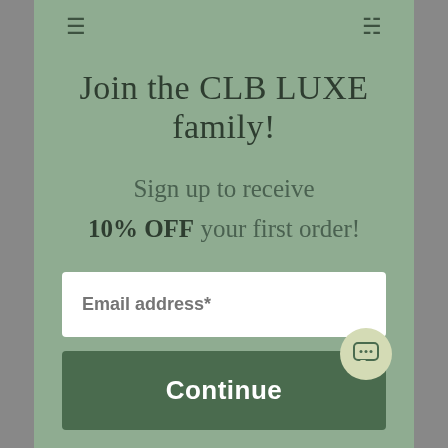Join the CLB LUXE family!
Sign up to receive
10% OFF your first order!
Email address*
Continue